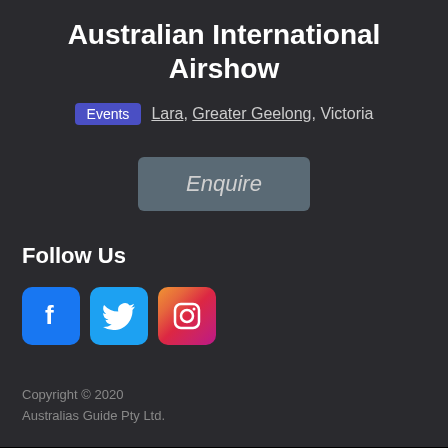Australian International Airshow
Events   Lara, Greater Geelong, Victoria
Enquire
Follow Us
[Figure (logo): Facebook, Twitter, and Instagram social media icons]
Copyright © 2020 Australias Guide Pty Ltd.
[Figure (logo): australias.guide victoria logo with colorful bird/flower motif SVG and orange 'guide' text]